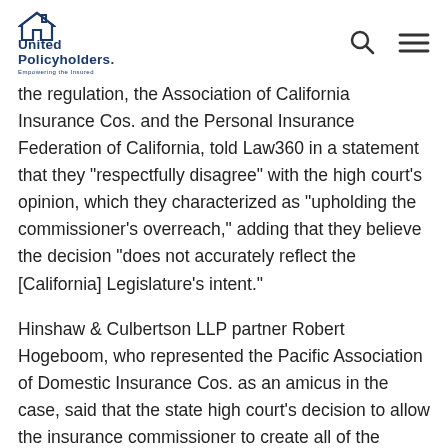United Policyholders. Empowering the Insured
the regulation, the Association of California Insurance Cos. and the Personal Insurance Federation of California, told Law360 in a statement that they “respectfully disagree” with the high court’s opinion, which they characterized as “upholding the commissioner’s overreach,” adding that they believe the decision “does not accurately reflect the [California] Legislature’s intent.”
Hinshaw & Culbertson LLP partner Robert Hogeboom, who represented the Pacific Association of Domestic Insurance Cos. as an amicus in the case, said that the state high court’s decision to allow the insurance commissioner to create all of the details regarding homeowners replacement estimates is an expansion of his regulation adoption authority under